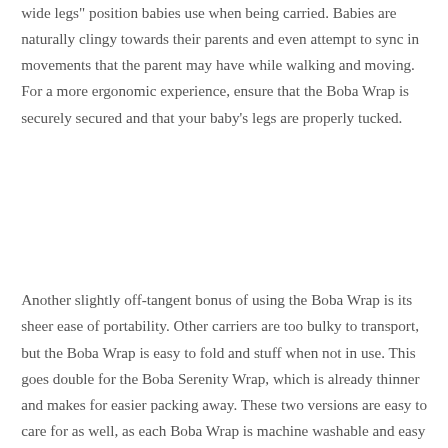wide legs" position babies use when being carried. Babies are naturally clingy towards their parents and even attempt to sync in movements that the parent may have while walking and moving. For a more ergonomic experience, ensure that the Boba Wrap is securely secured and that your baby's legs are properly tucked.
Another slightly off-tangent bonus of using the Boba Wrap is its sheer ease of portability. Other carriers are too bulky to transport, but the Boba Wrap is easy to fold and stuff when not in use. This goes double for the Boba Serenity Wrap, which is already thinner and makes for easier packing away. These two versions are easy to care for as well, as each Boba Wrap is machine washable and easy to dry.
[Figure (photo): A person (seen from behind/side, dark hair) sitting indoors against a light-colored wall with a framed picture or map visible on the right side of the background.]